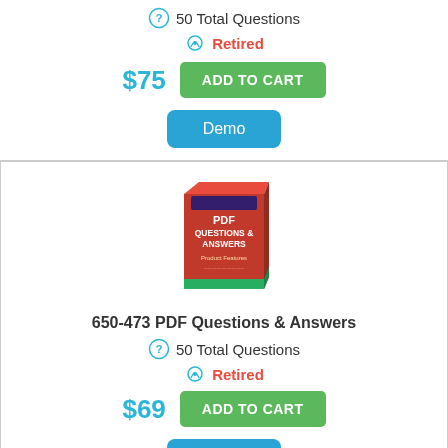50 Total Questions
Retired
$75
ADD TO CART
Demo
[Figure (illustration): Red box product image labeled PDF Questions & Answers]
650-473 PDF Questions & Answers
50 Total Questions
Retired
$69
ADD TO CART
Demo